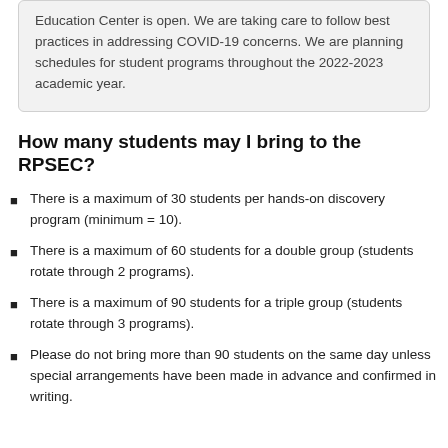Education Center is open. We are taking care to follow best practices in addressing COVID-19 concerns. We are planning schedules for student programs throughout the 2022-2023 academic year.
How many students may I bring to the RPSEC?
There is a maximum of 30 students per hands-on discovery program (minimum = 10).
There is a maximum of 60 students for a double group (students rotate through 2 programs).
There is a maximum of 90 students for a triple group (students rotate through 3 programs).
Please do not bring more than 90 students on the same day unless special arrangements have been made in advance and confirmed in writing.